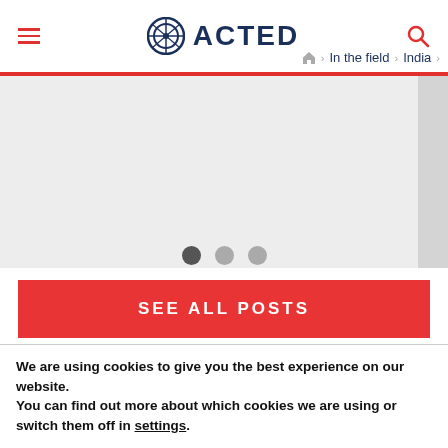ACTED
In the field > India >
[Figure (screenshot): Gray banner/carousel area with slide indicator dots (three circles: one dark, two lighter)]
SEE ALL POSTS
We are using cookies to give you the best experience on our website.
You can find out more about which cookies we are using or switch them off in settings.
Accept